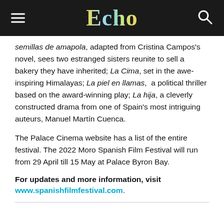Echo
semillas de amapola, adapted from Cristina Campos's novel, sees two estranged sisters reunite to sell a bakery they have inherited; La Cima, set in the awe-inspiring Himalayas; La piel en llamas, a political thriller based on the award-winning play; La hija, a cleverly constructed drama from one of Spain's most intriguing auteurs, Manuel Martín Cuenca.
The Palace Cinema website has a list of the entire festival. The 2022 Moro Spanish Film Festival will run from 29 April till 15 May at Palace Byron Bay.
For updates and more information, visit www.spanishfilmfestival.com.